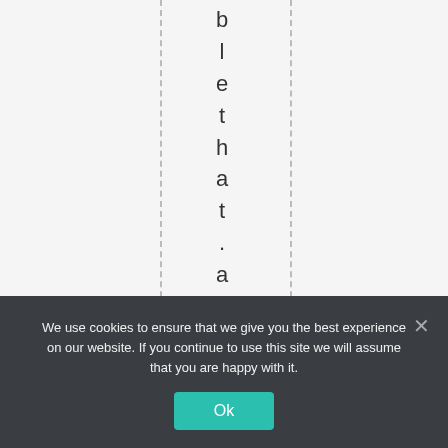bl e t h a t . a t * * * 6 9 d e g
We use cookies to ensure that we give you the best experience on our website. If you continue to use this site we will assume that you are happy with it. Ok